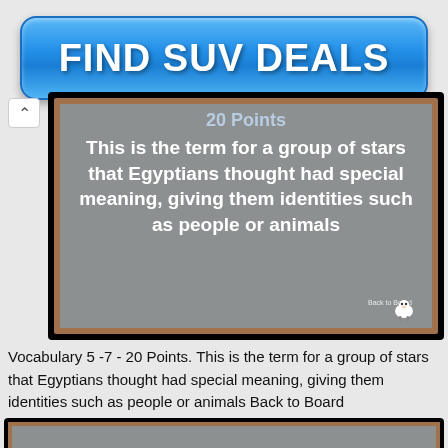[Figure (screenshot): Blue button ad banner reading FIND SUV DEALS]
[Figure (screenshot): Blackboard slide showing '20 Points' and question text: This is the term for a group of stars that Egyptians thought had special meaning, giving them identities such as people or animals. Back to Board.]
Vocabulary 5 -7 - 20 Points. This is the term for a group of stars that Egyptians thought had special meaning, giving them identities such as people or animals Back to Board
[Figure (screenshot): Partial blackboard slide visible at bottom of page]